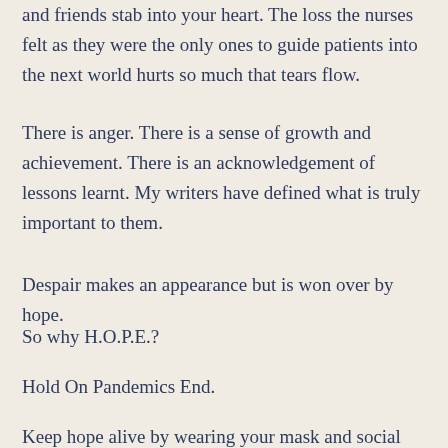and friends stab into your heart. The loss the nurses felt as they were the only ones to guide patients into the next world hurts so much that tears flow.
There is anger. There is a sense of growth and achievement. There is an acknowledgement of lessons learnt. My writers have defined what is truly important to them.
Despair makes an appearance but is won over by hope.
So why H.O.P.E.?
Hold On Pandemics End.
Keep hope alive by wearing your mask and social